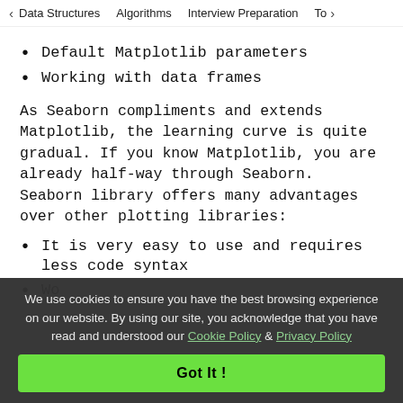< Data Structures   Algorithms   Interview Preparation   To>
Default Matplotlib parameters
Working with data frames
As Seaborn compliments and extends Matplotlib, the learning curve is quite gradual. If you know Matplotlib, you are already half-way through Seaborn. Seaborn library offers many advantages over other plotting libraries:
It is very easy to use and requires less code syntax
Wo...
We use cookies to ensure you have the best browsing experience on our website. By using our site, you acknowledge that you have read and understood our Cookie Policy & Privacy Policy
Got It !